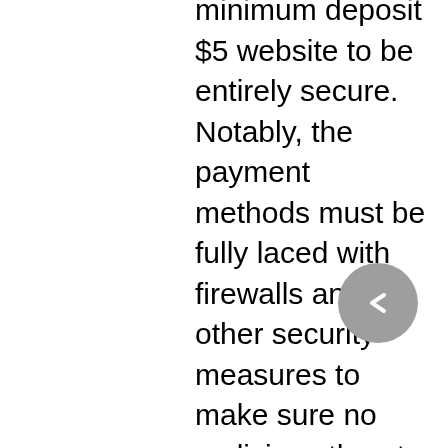minimum deposit $5 website to be entirely secure. Notably, the payment methods must be fully laced with firewalls and other security measures to make sure no malicious threat becomes successful in harming the players or the website. There are several such malicious threats present. Battle of gods, playtech · rich wilde and the book of dead, play'n go · deal or no deal: the banker's riches · money. Free online slots: play all the slot releases right here. Like gifts from the casino gods, we hold all the riches of free online slots. Most of them allow you to play slots no download required. Nations such as the united kingdom, canada, australia, and new zealand. Play at the world's leading online casino - pokerstars casino | exclusive range of table and live games and guaranteed jackpots ➤ join. Best 3 no download casinos to play with iphone. Royal vegas casino canada. Best free slots experience! no signups! no downloads! no